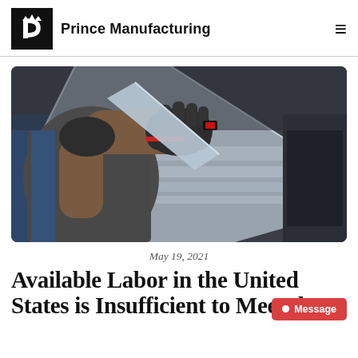Prince Manufacturing
[Figure (photo): A gloved worker's hands handling a metal sheet at an industrial press brake machine in a manufacturing facility.]
May 19, 2021
Available Labor in the United States is Insufficient to Meet the